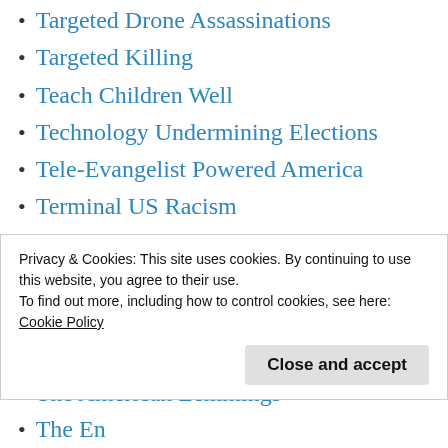Targeted Drone Assassinations
Targeted Killing
Teach Children Well
Technology Undermining Elections
Tele-Evangelist Powered America
Terminal US Racism
Thank You Trump
Thanks Mr. President
The American Agenda
The American Apocalypse
The American Lemmings
Privacy & Cookies: This site uses cookies. By continuing to use this website, you agree to their use.
To find out more, including how to control cookies, see here:
Cookie Policy
Close and accept
The En...